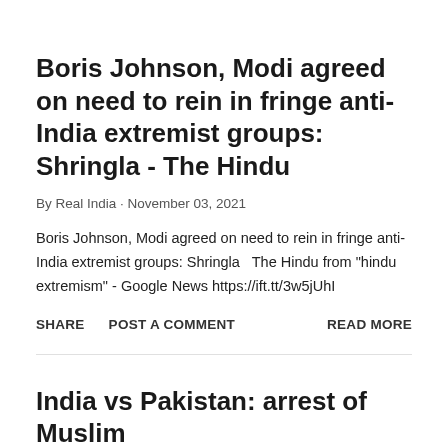Boris Johnson, Modi agreed on need to rein in fringe anti-India extremist groups: Shringla - The Hindu
By Real India · November 03, 2021
Boris Johnson, Modi agreed on need to rein in fringe anti-India extremist groups: Shringla   The Hindu from "hindu extremism" - Google News https://ift.tt/3w5jUhI
SHARE   POST A COMMENT   READ MORE
India vs Pakistan: arrest of Muslim